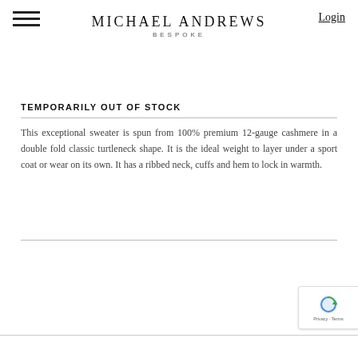MICHAEL ANDREWS BESPOKE
TEMPORARILY OUT OF STOCK
This exceptional sweater is spun from 100% premium 12-gauge cashmere in a double fold classic turtleneck shape. It is the ideal weight to layer under a sport coat or wear on its own. It has a ribbed neck, cuffs and hem to lock in warmth.
[Figure (photo): Four fabric swatches showing cashmere color options: black, tan/camel, dark brown, and olive green, displayed in a carousel with left and right navigation arrows.]